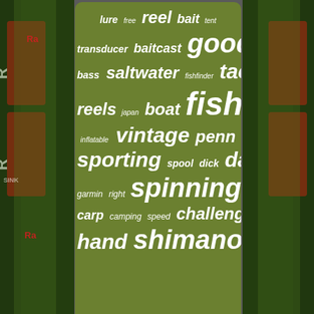[Figure (infographic): Word cloud about fishing gear and related topics on an olive/dark-green background. Words include: lure, free, reel, bait, tent, transducer, baitcast, goods, dicks, bass, saltwater, fishfinder, tackle, reels, japan, boat, fishing, inflatable, vintage, penn, sporting, spool, dick, daiwa, garmin, right, spinning, lures, carp, camping, speed, challenge, hand, shimano, fish. Navigation links below: Homepage, Contact Form, Privacy Policies.]
Homepage
Contact Form
Privacy Policies